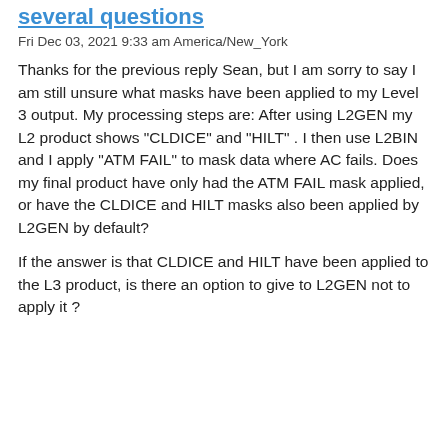several questions
Fri Dec 03, 2021 9:33 am America/New_York
Thanks for the previous reply Sean, but I am sorry to say I am still unsure what masks have been applied to my Level 3 output. My processing steps are: After using L2GEN my L2 product shows "CLDICE" and "HILT" . I then use L2BIN and I apply "ATM FAIL" to mask data where AC fails. Does my final product have only had the ATM FAIL mask applied, or have the CLDICE and HILT masks also been applied by L2GEN by default?
If the answer is that CLDICE and HILT have been applied to the L3 product, is there an option to give to L2GEN not to apply it ?